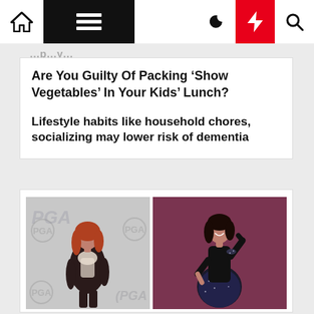Navigation bar with home, menu, moon, bolt, and search icons
Are You Guilty Of Packing ‘Show Vegetables’ In Your Kids’ Lunch?
Lifestyle habits like household chores, socializing may lower risk of dementia
[Figure (photo): Two side-by-side photos of a plus-size woman. Left photo: woman with red hair wearing a black outfit with a white scarf/shawl, posing in front of a PGA logo backdrop. Right photo: same or similar woman with dark hair wearing a black top and dark sparkly skirt, posing against a burgundy/mauve wainscoted wall background.]